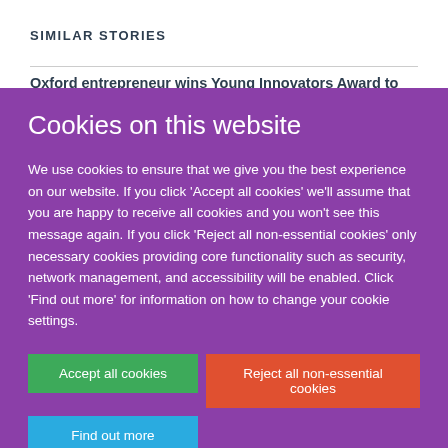SIMILAR STORIES
Oxford entrepreneur wins Young Innovators Award to
Cookies on this website
We use cookies to ensure that we give you the best experience on our website. If you click 'Accept all cookies' we'll assume that you are happy to receive all cookies and you won't see this message again. If you click 'Reject all non-essential cookies' only necessary cookies providing core functionality such as security, network management, and accessibility will be enabled. Click 'Find out more' for information on how to change your cookie settings.
Accept all cookies
Reject all non-essential cookies
Find out more